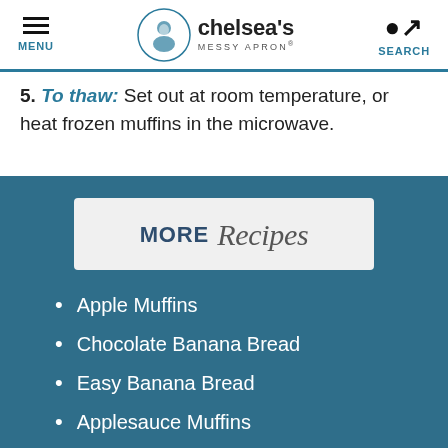MENU | chelsea's MESSY APRON® | SEARCH
5. To thaw: Set out at room temperature, or heat frozen muffins in the microwave.
MORE Recipes
Apple Muffins
Chocolate Banana Bread
Easy Banana Bread
Applesauce Muffins